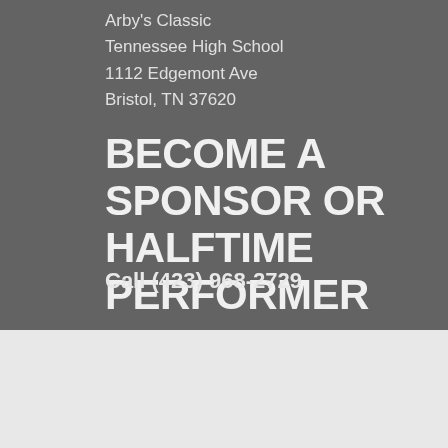Arby's Classic
Tennessee High School
1112 Edgemont Ave
Bristol, TN 37620
BECOME A SPONSOR OR HALFTIME PERFORMER
Call (423) 968-2729
© 2022
Bristol Tennessee City Schools